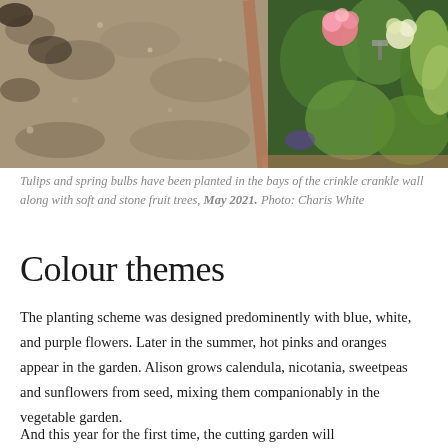[Figure (photo): Garden bed with gravel/stone mulch on the left and flowering plants including pink tulips and green leafy plants on the right, separated by a brick border.]
Tulips and spring bulbs have been planted in the bays of the crinkle crankle wall along with soft and stone fruit trees, May 2021. Photo: Charis White
Colour themes
The planting scheme was designed predominently with blue, white, and purple flowers. Later in the summer, hot pinks and oranges appear in the garden. Alison grows calendula, nicotania, sweetpeas and sunflowers from seed, mixing them companionably in the vegetable garden.
And this year for the first time, the cutting garden will